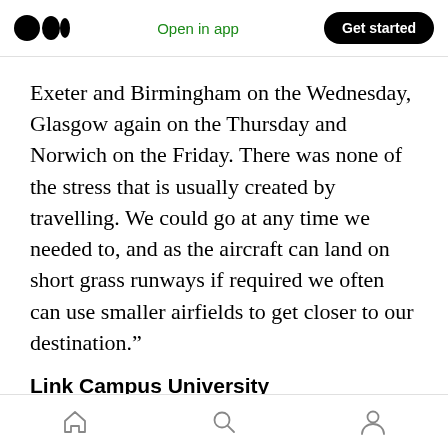Open in app | Get started
Exeter and Birmingham on the Wednesday, Glasgow again on the Thursday and Norwich on the Friday. There was none of the stress that is usually created by travelling. We could go at any time we needed to, and as the aircraft can land on short grass runways if required we often can use smaller airfields to get closer to our destination.”
Link Campus University
Link Campus University in Rome began in 1999 as a subsidiary of the University of Malta but is
home | search | profile